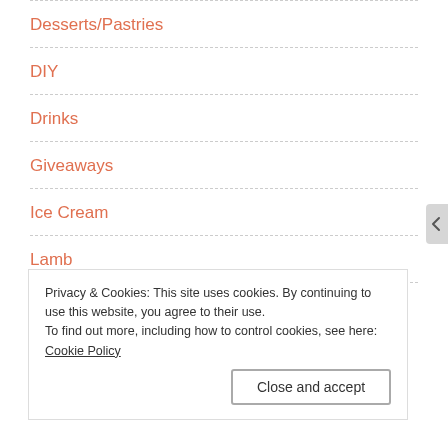Desserts/Pastries
DIY
Drinks
Giveaways
Ice Cream
Lamb
Miscellaneous
Privacy & Cookies: This site uses cookies. By continuing to use this website, you agree to their use.
To find out more, including how to control cookies, see here: Cookie Policy
Close and accept